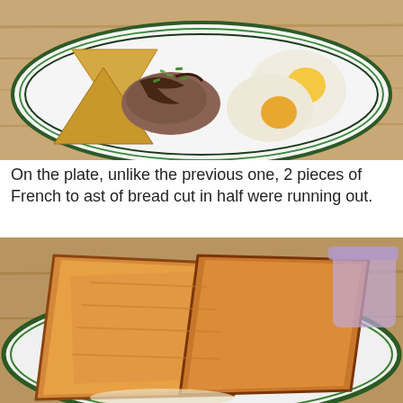[Figure (photo): A restaurant plate on a wooden table showing two fried eggs sunny-side up and triangular toast pieces topped with shredded meat, green onions, and dark sauce on a white plate with green and dark blue rim stripes.]
On the plate, unlike the previous one, 2 pieces of French toast of bread cut in half were running out.
[Figure (photo): Close-up of golden-brown French toast slices cut diagonally and arranged on a white plate with green rim stripes, with a blurred purple cup in the background.]